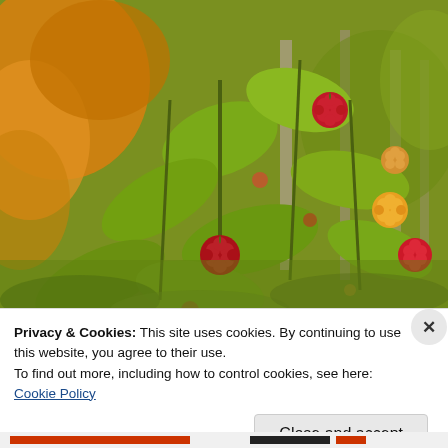[Figure (photo): A close-up photograph of a raspberry plant with red and orange-yellow raspberries among green leaves, with a blurred background of orange/yellow autumn foliage and wooden fence posts.]
Privacy & Cookies: This site uses cookies. By continuing to use this website, you agree to their use.
To find out more, including how to control cookies, see here: Cookie Policy
Close and accept